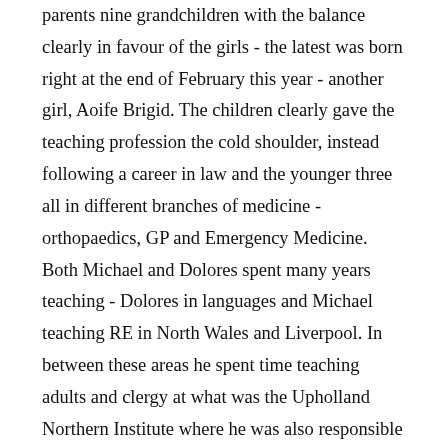parents nine grandchildren with the balance clearly in favour of the girls - the latest was born right at the end of February this year - another girl, Aoife Brigid. The children clearly gave the teaching profession the cold shoulder, instead following a career in law and the younger three all in different branches of medicine - orthopaedics, GP and Emergency Medicine. Both Michael and Dolores spent many years teaching - Dolores in languages and Michael teaching RE in North Wales and Liverpool. In between these areas he spent time teaching adults and clergy at what was the Upholland Northern Institute where he was also responsible for developing resources. He has now spent a couple of years setting up a Pause for Hope service in Northern Ireland using his big connections and family he falls this will